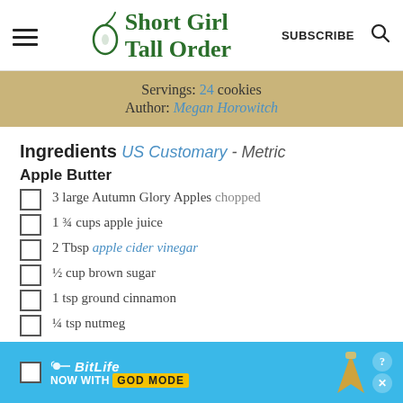Short Girl Tall Order | SUBSCRIBE | Search
Servings: 24 cookies
Author: Megan Horowitch
Ingredients US Customary - Metric
Apple Butter
3 large Autumn Glory Apples chopped
1 ¾ cups apple juice
2 Tbsp apple cider vinegar
½ cup brown sugar
1 tsp ground cinnamon
¼ tsp nutmeg
[Figure (screenshot): BitLife advertisement banner: BitLife - Now with GOD MODE, with snail logo and hand pointing icon]